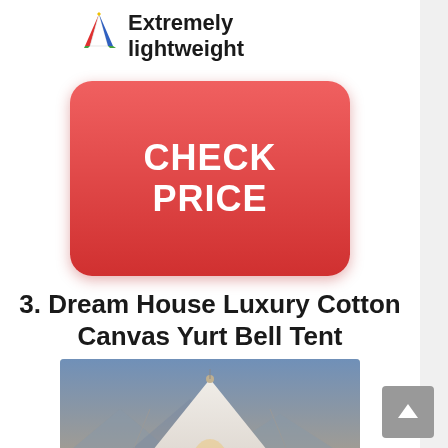[Figure (logo): Colorful tent/camping icon logo]
Extremely lightweight
[Figure (other): Red rounded rectangle button with text CHECK PRICE]
3. Dream House Luxury Cotton Canvas Yurt Bell Tent
[Figure (photo): Photo of a white canvas bell tent / yurt on a grassy field at dusk with warm interior lighting visible]